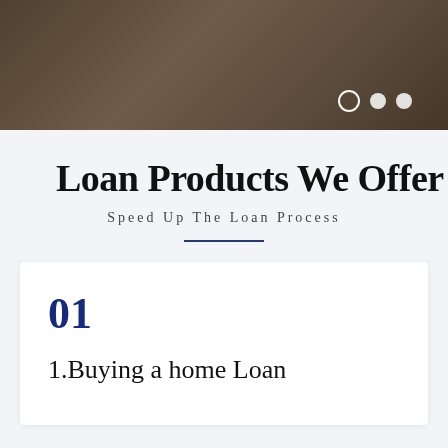[Figure (photo): Hero image showing a person, dark brown tones, with carousel navigation dots in the bottom right corner]
Loan Products We Offer
Speed Up The Loan Process
01
1.Buying a home Loan